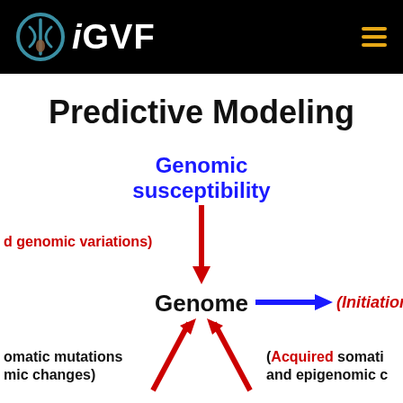iGVF
Predictive Modeling
[Figure (flowchart): Flowchart showing genomic susceptibility leading down to Genome via red arrow, with a blue arrow from Genome pointing right to (Initiation o...), and two red upward arrows from bottom converging at Genome, labeled with partial text: 'd genomic variations)' on the left, 'omatic mutations mic changes)' on lower left, and '(Acquired somati and epigenomic c' on lower right.]